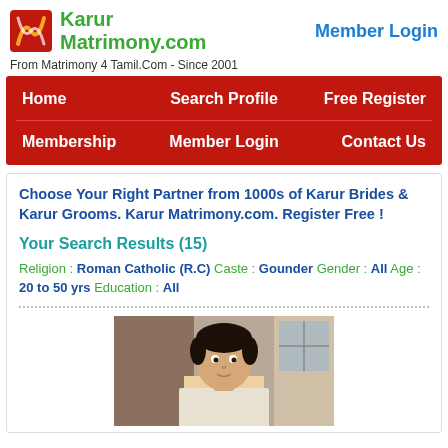[Figure (logo): Karur Matrimony.com logo with orange/red spiral icon and green text]
Member Login
From Matrimony 4 Tamil.Com - Since 2001
Home   Search Profile   Free Register   Membership   Member Login   Contact Us
Choose Your Right Partner from 1000s of Karur Brides & Karur Grooms. Karur Matrimony.com. Register Free !
Your Search Results (15)
Religion : Roman Catholic (R.C) Caste : Gounder Gender : All Age : 20 to 50 yrs Education : All
[Figure (photo): Photo of a young man with dark hair, partial view of face and shoulders]